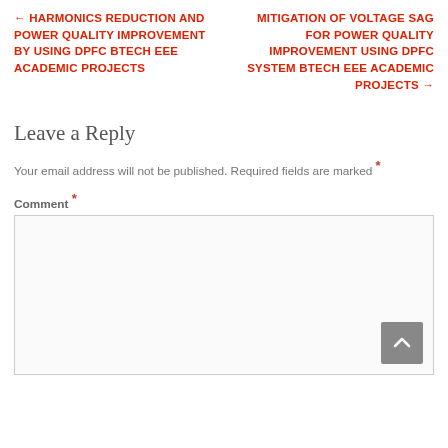← HARMONICS REDUCTION AND POWER QUALITY IMPROVEMENT BY USING DPFC BTECH EEE ACADEMIC PROJECTS
MITIGATION OF VOLTAGE SAG FOR POWER QUALITY IMPROVEMENT USING DPFC SYSTEM BTECH EEE ACADEMIC PROJECTS →
Leave a Reply
Your email address will not be published. Required fields are marked *
Comment *